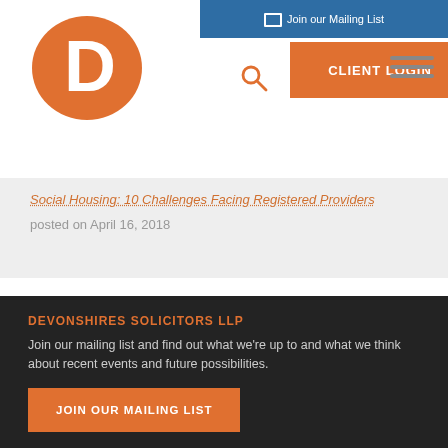[Figure (logo): Devonshires Solicitors LLP orange oval logo with white D letter]
Join our Mailing List | CLIENT LOGIN
Social Housing: 10 Challenges Facing Registered Providers
posted on April 16, 2018
DEVONSHIRES SOLICITORS LLP
Join our mailing list and find out what we’re up to and what we think about recent events and future possibilities.
JOIN OUR MAILING LIST
FOLLOW US ON TWITTER
The draft Social Housing (Regulation) Bill introduces the ability for the